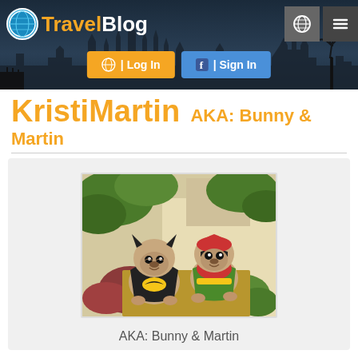[Figure (screenshot): TravelBlog website header with logo, Taj Mahal silhouette, Log In and Sign In buttons]
KristiMartin AKA: Bunny & Martin
[Figure (photo): Two pugs dressed in Batman and Robin costumes outdoors with tropical plants]
AKA: Bunny & Martin